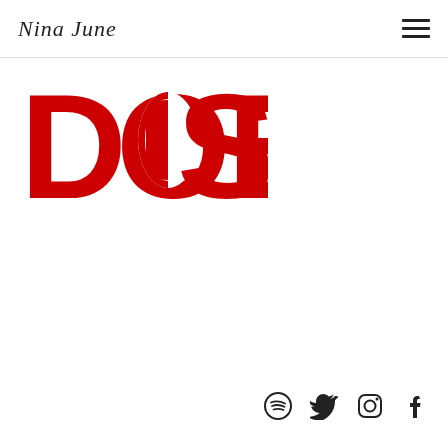Nina June
[Figure (logo): DOSE logo in large bold red capital letters with a pill capsule replacing the letter O]
[Figure (infographic): Social media icons: Spotify, Twitter, Instagram, Facebook]